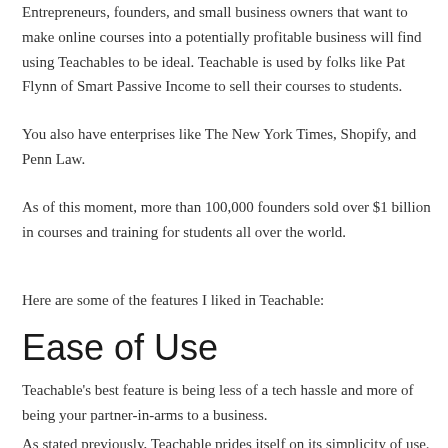Entrepreneurs, founders, and small business owners that want to make online courses into a potentially profitable business will find using Teachables to be ideal. Teachable is used by folks like Pat Flynn of Smart Passive Income to sell their courses to students.
You also have enterprises like The New York Times, Shopify, and Penn Law.
As of this moment, more than 100,000 founders sold over $1 billion in courses and training for students all over the world.
Here are some of the features I liked in Teachable:
Ease of Use
Teachable's best feature is being less of a tech hassle and more of being your partner-in-arms to a business.
As stated previously, Teachable prides itself on its simplicity of use.